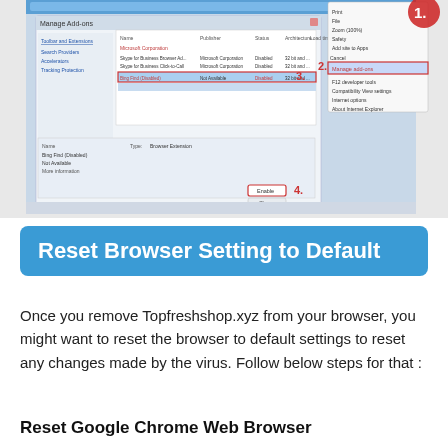[Figure (screenshot): Screenshot of Internet Explorer Manage Add-ons dialog with numbered annotations (1-4) showing steps to disable an add-on, alongside a browser menu showing 'Manage Add-ons' option highlighted.]
Reset Browser Setting to Default
Once you remove Topfreshshop.xyz from your browser, you might want to reset the browser to default settings to reset any changes made by the virus. Follow below steps for that :
Reset Google Chrome Web Browser